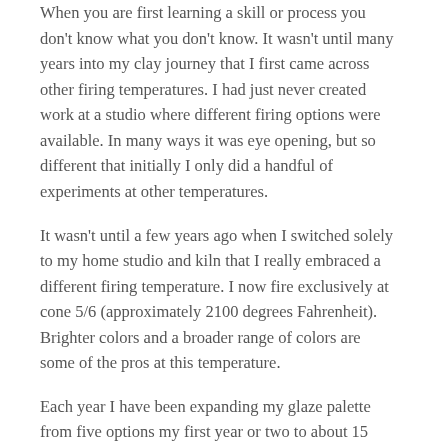When you are first learning a skill or process you don't know what you don't know. It wasn't until many years into my clay journey that I first came across other firing temperatures. I had just never created work at a studio where different firing options were available. In many ways it was eye opening, but so different that initially I only did a handful of experiments at other temperatures.
It wasn't until a few years ago when I switched solely to my home studio and kiln that I really embraced a different firing temperature. I now fire exclusively at cone 5/6 (approximately 2100 degrees Fahrenheit). Brighter colors and a broader range of colors are some of the pros at this temperature.
Each year I have been expanding my glaze palette from five options my first year or two to about 15 plus at last count.
One of my newest experiments is Olive Float (pictured above). Let me know what you think.
See this planter and more available online.
Share this: